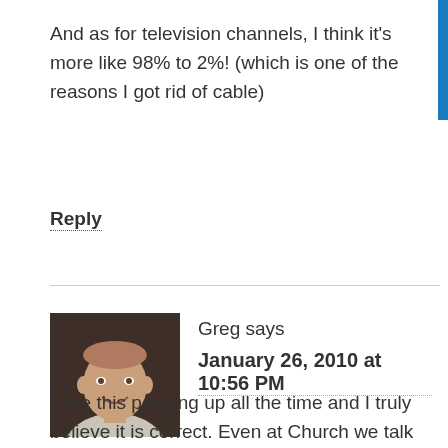And as for television channels, I think it's more like 98% to 2%! (which is one of the reasons I got rid of cable)
Reply
Greg says
January 26, 2010 at 10:56 PM
I see this popping up all the time and I truly believe it is correct. Even at Church we talk about how 20% of the people do 80% of the work! Or how 80% of what you file will never see the light of day again! Even as I have purged my closet, I